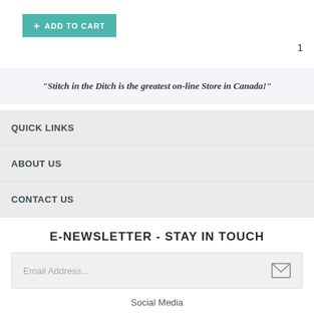[Figure (other): Add to Cart button in teal color with a plus icon]
1
"Stitch in the Ditch is the greatest on-line Store in Canada!"
QUICK LINKS
ABOUT US
CONTACT US
E-NEWSLETTER - STAY IN TOUCH
[Figure (other): Email address input field with placeholder text 'Email Address...' and an envelope icon on the right]
Social Media